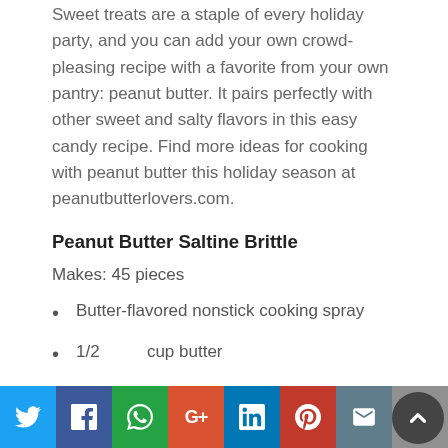Sweet treats are a staple of every holiday party, and you can add your own crowd-pleasing recipe with a favorite from your own pantry: peanut butter. It pairs perfectly with other sweet and salty flavors in this easy candy recipe. Find more ideas for cooking with peanut butter this holiday season at peanutbutterlovers.com.
Peanut Butter Saltine Brittle
Makes: 45 pieces
Butter-flavored nonstick cooking spray
1/2     cup butter
3/4     cup creamy peanut butter
1       cup granulated sugar